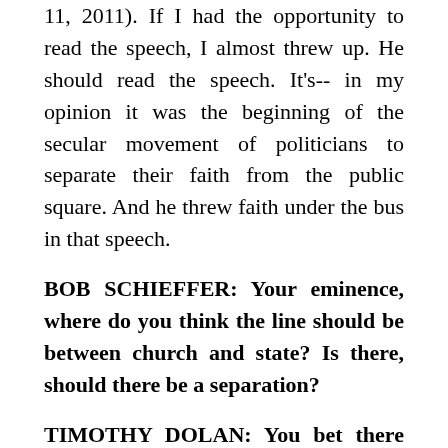11, 2011). If I had the opportunity to read the speech, I almost threw up. He should read the speech. It's-- in my opinion it was the beginning of the secular movement of politicians to separate their faith from the public square. And he threw faith under the bus in that speech.
BOB SCHIEFFER: Your eminence, where do you think the line should be between church and state? Is there, should there be a separation?
TIMOTHY DOLAN: You bet there should. You bet there should. That's good, that